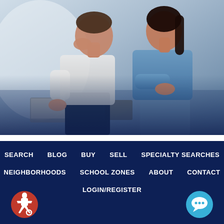[Figure (photo): A stressed couple sitting together looking down at documents/laptop, man on left in white shirt with head in hand, woman on right in blue top leaning forward. Blue-tinted overlay at bottom.]
Home Not Selling? Frustrated? Try This!
SEARCH
BLOG
BUY
SELL
SPECIALTY SEARCHES
NEIGHBORHOODS
SCHOOL ZONES
ABOUT
CONTACT
LOGIN/REGISTER